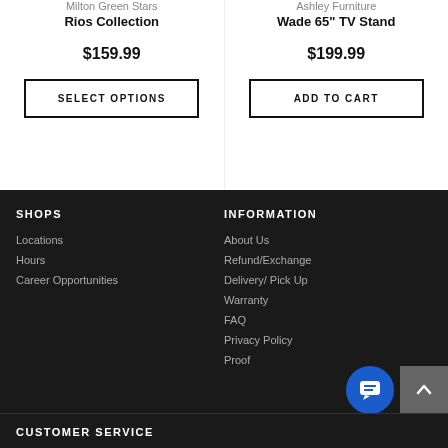Milton Green Stars
Rios Collection
$159.99
SELECT OPTIONS
Ashley Furniture
Wade 65" TV Stand
$199.99
ADD TO CART
SHOPS
Locations
Hours
Career Opportunities
INFORMATION
About Us
Refund/Exchange
Delivery/ Pick Up
Warranty
FAQ
Privacy Policy
Proof
CUSTOMER SERVICE